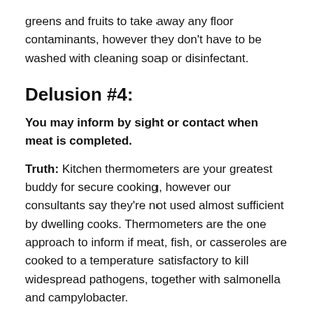greens and fruits to take away any floor contaminants, however they don't have to be washed with cleaning soap or disinfectant.
Delusion #4:
You may inform by sight or contact when meat is completed.
Truth: Kitchen thermometers are your greatest buddy for secure cooking, however our consultants say they're not used almost sufficient by dwelling cooks. Thermometers are the one approach to inform if meat, fish, or casseroles are cooked to a temperature satisfactory to kill widespread pathogens, together with salmonella and campylobacter.
“Cooking with no thermometer is like driving with no speedometer,” says Bucknavage. “You could use one.”